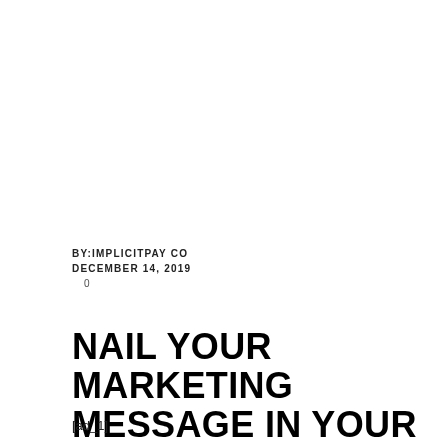BY:IMPLICITPAY CO
DECEMBER 14, 2019
0
NAIL YOUR MARKETING MESSAGE IN YOUR LINKEDIN PROFILE
[ad_1]